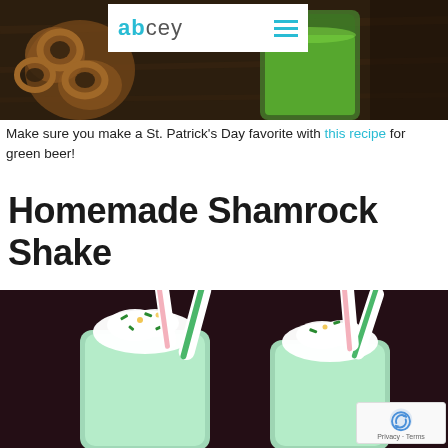[Figure (photo): Photo of green beer in a green glass jar with pretzels on a wooden table, with abcey logo bar overlaid at top]
Make sure you make a St. Patrick's Day favorite with this recipe for green beer!
Homemade Shamrock Shake
[Figure (photo): Two mint green shamrock shake milkshakes in glasses topped with whipped cream and green sprinkles, with striped straws, on dark background]
Privacy · Terms